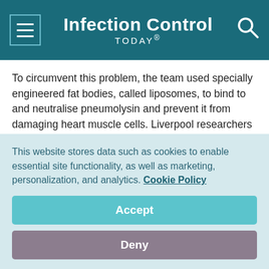Infection Control TODAY®
To circumvent this problem, the team used specially engineered fat bodies, called liposomes, to bind to and neutralise pneumolysin and prevent it from damaging heart muscle cells. Liverpool researchers had previously shown that liposome therapy could be used as a treatment against pneumonia and sepsis caused by Streptococcus pneumoniae and MRSA.
Dr Daniel Neill, who conducted the infection model work...
This website stores data such as cookies to enable essential site functionality, as well as marketing, personalization, and analytics. Cookie Policy
Accept
Deny